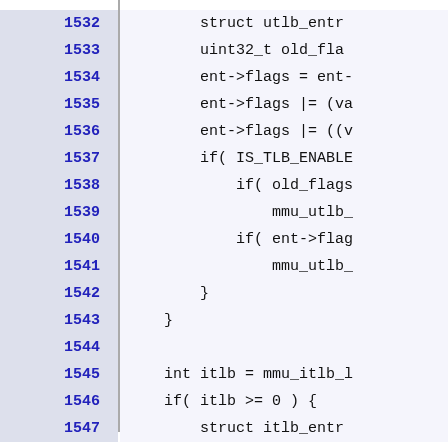[Figure (screenshot): Source code viewer showing lines 1532-1547 with line numbers on the left in bold blue on a light blue-grey background, and code content on a light lavender background. Left margin is a wide grey-blue panel. Lines show C code including struct utlb_entry, uint32_t old_flag, ent->flags assignments, IS_TLB_ENABLE check, mmu_utlb_ calls, closing braces, int itlb = mmu_itlb_l, if(itlb >= 0) {, struct itlb_entry.]